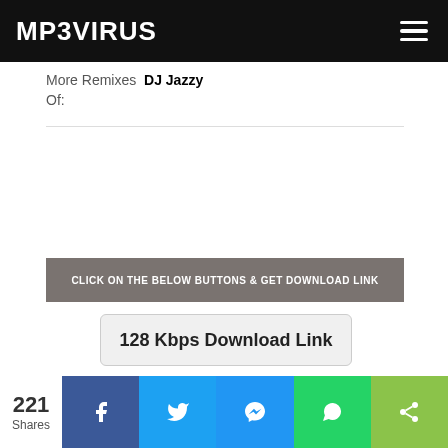MP3VIRUS
More Remixes  DJ Jazzy
Of:
CLICK ON THE BELOW BUTTONS & GET DOWNLOAD LINK
128 Kbps Download Link
221 Shares